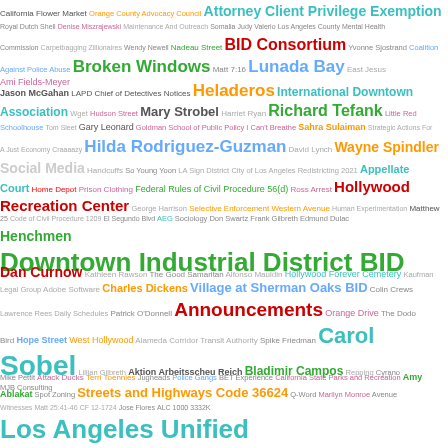[Figure (other): Word cloud containing legal, government, and community-related terms in varying sizes and colors including: Attorney Client Privilege Exemption, BID Consortium, Broken Windows, Lunada Bay, Heladeros, International Downtown Association, Mary Strobel, Richard Tefank, Hilda Rodriguez-Guzman, Wayne Spindler, Social Media, Hollywood Recreation Center, Downtown Industrial District BID, Dan Curnow, Charles Dickens, Village at Sherman Oaks BID, Announcements, Carol Sobel, Bladimir Campos, Streets and Highways Code 36624, Los Angeles Unified, and many more smaller terms.]